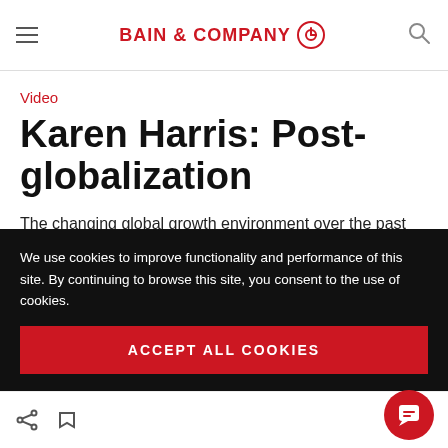BAIN & COMPANY
Video
Karen Harris: Post-globalization
The changing global growth environment over the past 70 years has helped create much of the
We use cookies to improve functionality and performance of this site. By continuing to browse this site, you consent to the use of cookies.
ACCEPT ALL COOKIES